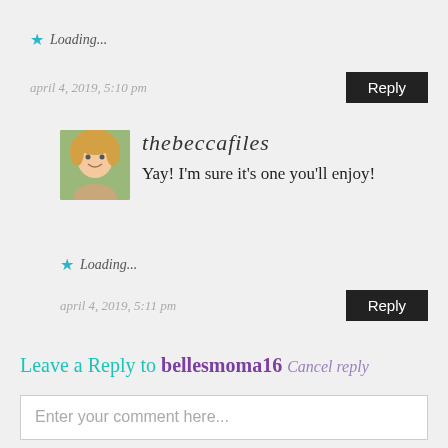Loading...
april 4, 2019, 5:10 pm
Reply
thebeccafiles
Yay! I’m sure it’s one you’ll enjoy!
Loading...
april 4, 2019, 5:11 pm
Reply
Leave a Reply to bellesmoma16 Cancel reply
Enter your comment here...